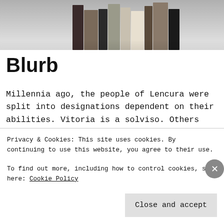[Figure (photo): Photo of stacked books with light-colored covers on a white/grey background, cropped to show only the top portion]
Blurb
Millennia ago, the people of Lencura were split into designations dependent on their abilities. Vitoria is a solviso. Others consider them the weakest of the designations but Vitoria knows she’s stronger than people think. Sure, she can’t fly, shift, or conjure magic but her blood has healing properties that the other designations covet and she knows she can use that to her advantage. She’s aware of the dangers that lurk
Privacy & Cookies: This site uses cookies. By continuing to use this website, you agree to their use.
To find out more, including how to control cookies, see here: Cookie Policy
Close and accept